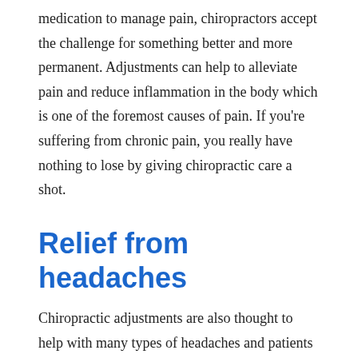medication to manage pain, chiropractors accept the challenge for something better and more permanent. Adjustments can help to alleviate pain and reduce inflammation in the body which is one of the foremost causes of pain. If you're suffering from chronic pain, you really have nothing to lose by giving chiropractic care a shot.
Relief from headaches
Chiropractic adjustments are also thought to help with many types of headaches and patients report a much lower incidence of headache episodes following treatment. Common headache types like tension and migraine are thought to actually start in the spine and are even caused by back pain. A chiropractor can help with these conditions and more than 200 official studies have shown a correlation